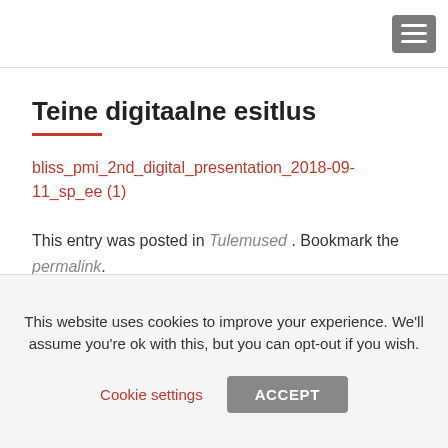Teine digitaalne esitlus
bliss_pmi_2nd_digital_presentation_2018-09-11_sp_ee (1)
This entry was posted in Tulemused. Bookmark the permalink.
This website uses cookies to improve your experience. We'll assume you're ok with this, but you can opt-out if you wish.
Cookie settings  ACCEPT